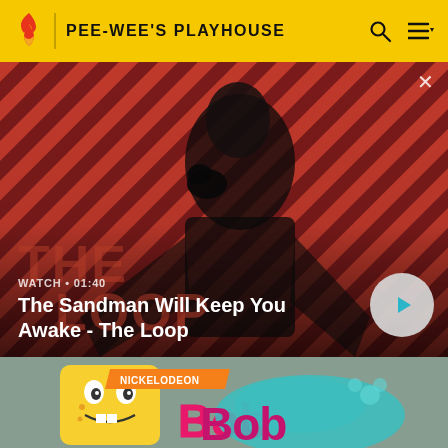PEE-WEE'S PLAYHOUSE
[Figure (screenshot): Hero video thumbnail showing a dark-clad figure with a raven on shoulder against red diagonal stripe background. The Loop TV show branding visible. Duration label WATCH • 01:40. Title: The Sandman Will Keep You Awake - The Loop. Play button overlay.]
WATCH • 01:40
The Sandman Will Keep You Awake - The Loop
[Figure (screenshot): Partial video thumbnail showing Nickelodeon logo banner and SpongeBob SquarePants cartoon character with 'Bob' text in pink/blue bubble lettering on teal background.]